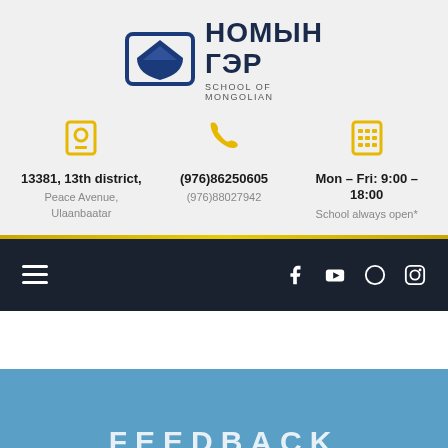[Figure (logo): Номын Гэр - School of Mongolian logo with blue book icon and Cyrillic text]
13381, 13th district, Peace Avenue, Ulaanbaatar
(976)86250605
(976)88027942
Mon – Fri: 9:00 – 18:00
School always open*
[Figure (screenshot): Dark navigation bar with hamburger menu and social media icons (Facebook, YouTube, Pinterest, Instagram)]
FEEDBACK